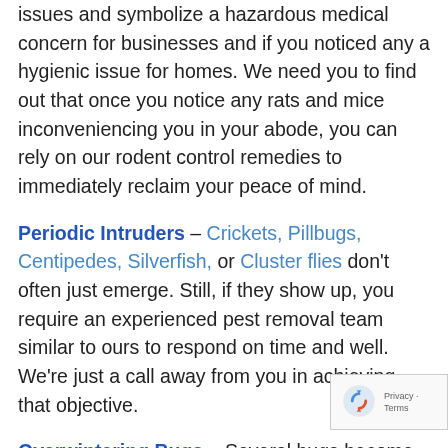issues and symbolize a hazardous medical concern for businesses and if you noticed any a hygienic issue for homes. We need you to find out that once you notice any rats and mice inconveniencing you in your abode, you can rely on our rodent control remedies to immediately reclaim your peace of mind.
Periodic Intruders – Crickets, Pillbugs, Centipedes, Silverfish, or Cluster flies don't often just emerge. Still, if they show up, you require an experienced pest removal team similar to ours to respond on time and well. We're just a call away from you in achieving that objective.
Overwintering Bugs – Several bugs become active during winter. An ordinary variable that describes these bugs is their urge for moisture and humid environments. That's precisely why